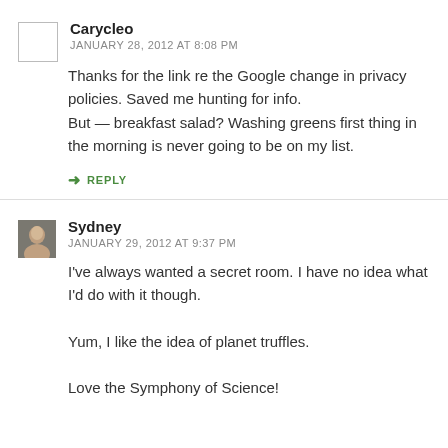Carycleo
JANUARY 28, 2012 AT 8:08 PM
Thanks for the link re the Google change in privacy policies. Saved me hunting for info.
But — breakfast salad? Washing greens first thing in the morning is never going to be on my list.
↳ REPLY
Sydney
JANUARY 29, 2012 AT 9:37 PM
I've always wanted a secret room. I have no idea what I'd do with it though.

Yum, I like the idea of planet truffles.

Love the Symphony of Science!